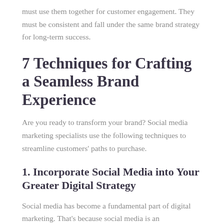must use them together for customer engagement. They must be consistent and fall under the same brand strategy for long-term success.
7 Techniques for Crafting a Seamless Brand Experience
Are you ready to transform your brand? Social media marketing specialists use the following techniques to streamline customers' paths to purchase.
1. Incorporate Social Media into Your Greater Digital Strategy
Social media has become a fundamental part of digital marketing. That's because social media is an